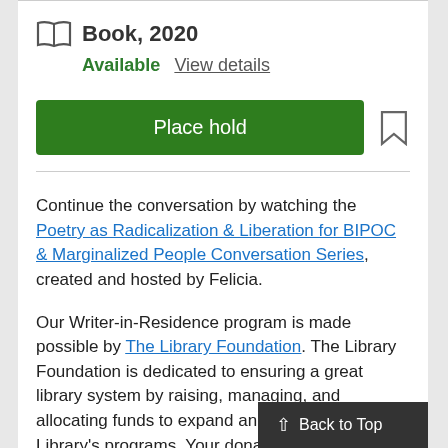Book, 2020 Available View details
Place hold
Continue the conversation by watching the Poetry as Radicalization & Liberation for BIPOC & Marginalized People Conversation Series, created and hosted by Felicia.
Our Writer-in-Residence program is made possible by The Library Foundation. The Library Foundation is dedicated to ensuring a great library system by raising, managing, and allocating funds to expand and enhance the Library's programs. Your donations
Back to Top